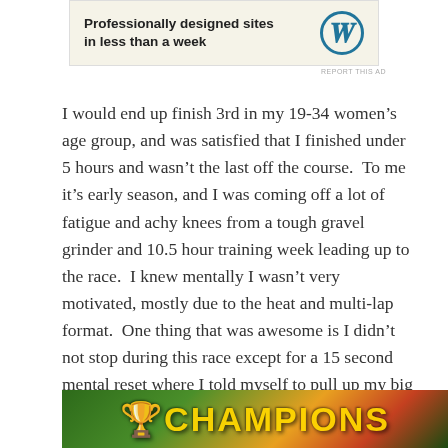[Figure (screenshot): Advertisement banner for WordPress showing text 'Professionally designed sites in less than a week' with WordPress circular logo]
REPORT THIS AD
I would end up finish 3rd in my 19-34 women's age group, and was satisfied that I finished under 5 hours and wasn't the last off the course.  To me it's early season, and I was coming off a lot of fatigue and achy knees from a tough gravel grinder and 10.5 hour training week leading up to the race.  I knew mentally I wasn't very motivated, mostly due to the heat and multi-lap format.  One thing that was awesome is I didn't not stop during this race except for a 15 second mental reset where I told myself to pull up my big girl pants and stop whining, and then while I helped the little girl who crashed.  Usually during my longer races I stop at aid stations, so this was something new as I wasn't off the bike probably more than 2 minutes tops the whole race.
[Figure (photo): Bottom portion of an image showing colorful text that appears to read 'CHAMPIONS' or similar, with green, yellow, orange and red colors]